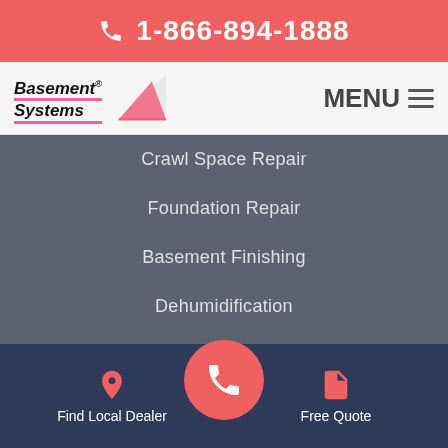1-866-894-1888
[Figure (logo): Basement Systems logo with stylized text and triangular graphic mark]
Crawl Space Repair
Foundation Repair
Basement Finishing
Dehumidification
PRODUCTS
Sump Pumps
Dehumidifiers
Find Local Dealer   Free Quote